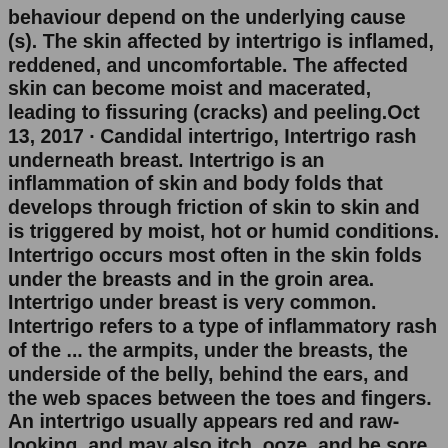behaviour depend on the underlying cause (s). The skin affected by intertrigo is inflamed, reddened, and uncomfortable. The affected skin can become moist and macerated, leading to fissuring (cracks) and peeling.Oct 13, 2017 · Candidal intertrigo, Intertrigo rash underneath breast. Intertrigo is an inflammation of skin and body folds that develops through friction of skin to skin and is triggered by moist, hot or humid conditions. Intertrigo occurs most often in the skin folds under the breasts and in the groin area. Intertrigo under breast is very common. Intertrigo refers to a type of inflammatory rash of the ... the armpits, under the breasts, the underside of the belly, behind the ears, and the web spaces between the toes and fingers. An intertrigo usually appears red and raw-looking, and may also itch, ooze, and be sore. ... Treatment. Intertrigo is treated by addressing associated ...Intertrigo. It is inflammation of the skin caused by two surfaces rubbing together. This condition is most common in obese people. It is usually seen in: Inner thigh, In the armpits, The...